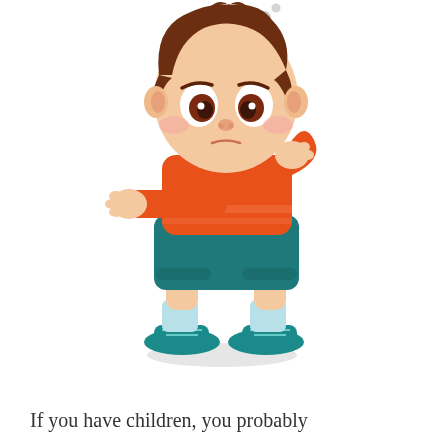[Figure (illustration): Cartoon illustration of a young boy with brown hair, wearing an orange striped t-shirt, teal shorts, light blue socks and teal shoes. He is posed in a thinking stance with one hand on his chin and the other across his stomach. There are small grey dots above his head suggesting thought bubbles.]
If you have children, you probably